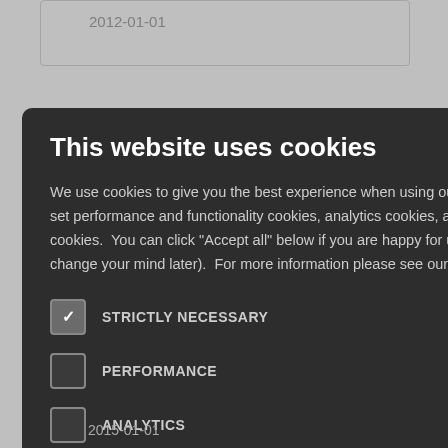2012-01-01
[Figure (screenshot): Background webpage with navy and gold colored elements, partial text including 'NFOGRAPHIC', 'on', 'n', 'an', 'rief', 'launch of']
This website uses cookies
We use cookies to give you the best experience when using our website. With your permission, we also set performance and functionality cookies, analytics cookies, advertising cookies and social media cookies. You can click "Accept all" below if you are happy for us to place cookies (you can always change your mind later). For more information please see our Cookie Policy
STRICTLY NECESSARY
PERFORMANCE
ANALYTICS
FUNCTIONALITY
SOCIAL MEDIA
2015-01-01